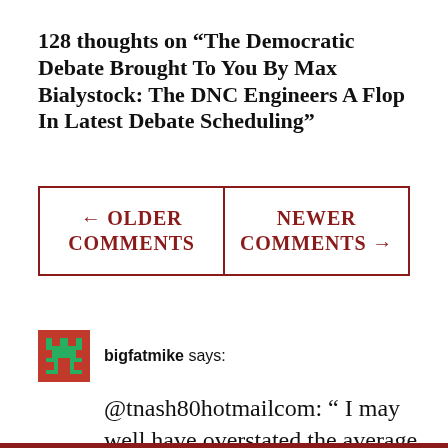128 thoughts on “The Democratic Debate Brought To You By Max Bialystock: The DNC Engineers A Flop In Latest Debate Scheduling”
[Figure (other): Navigation block with two buttons: ← OLDER COMMENTS (left) and NEWER COMMENTS → (right), each in a red-bordered table cell]
[Figure (illustration): User avatar icon: green and dark red pixelated building icon on a red square background]
bigfatmike says:
@tnash80hotmailcom: “ I may well have overstated the average GDP growth rate of the Obama administration, as